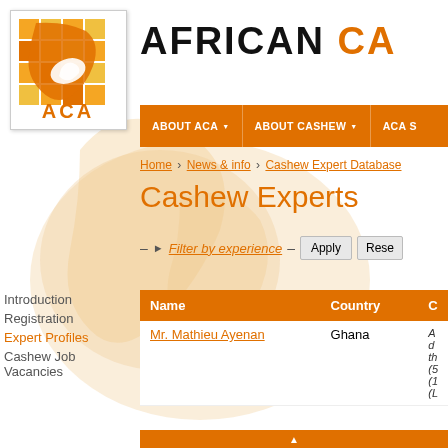[Figure (logo): ACA (African Cashew Alliance) logo with grid of orange/yellow squares, cashew icon, and ACA text]
AFRICAN CA
ABOUT ACA | ABOUT CASHEW | ACA S
Home › News & info › Cashew Expert Database
Cashew Experts
Introduction
Registration
Expert Profiles
Cashew Job Vacancies
– ▶ Filter by experience – Apply  Rese
| Name | Country | C |
| --- | --- | --- |
| Mr. Mathieu Ayenan | Ghana | A d th (5 (1 (L |